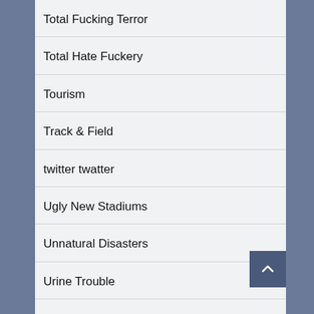Total Fucking Terror
Total Hate Fuckery
Tourism
Track & Field
twitter twatter
Ugly New Stadiums
Unnatural Disasters
Urine Trouble
USA! USA!